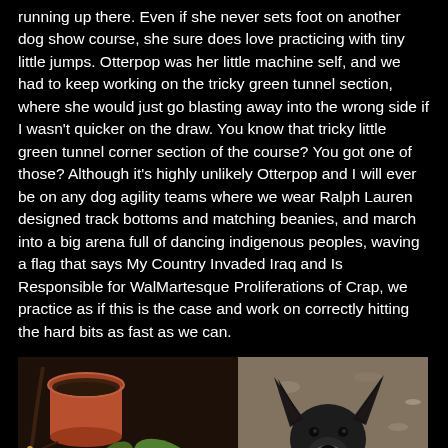running up there. Even if she never sets foot on another dog show course, she sure does love practicing with tiny little jumps. Otterpop was her little machine self, and we had to keep working on the tricky green tunnel section, where she would just go blasting away into the wrong side if I wasn't quicker on the draw. You know that tricky little green tunnel corner section of the course? You got one of those? Although it's highly unlikely Otterpop and I will ever be on any dog agility teams where we wear Ralph Lauren designed track bottoms and matching beanies, and march into a big arena full of dancing indigenous peoples, waving a flag that says My Country Invaded Iraq and Is Responsible for WalMartesque Proliferations of Crap, we practice as if this is the case and work on correctly hitting the hard bits as fast as we can.
[Figure (photo): A black dog sitting outdoors among green succulent plants, with a terracotta pot visible in the upper left. The dog has pointy ears and is looking at the camera. The background shows gravel/dirt ground.]